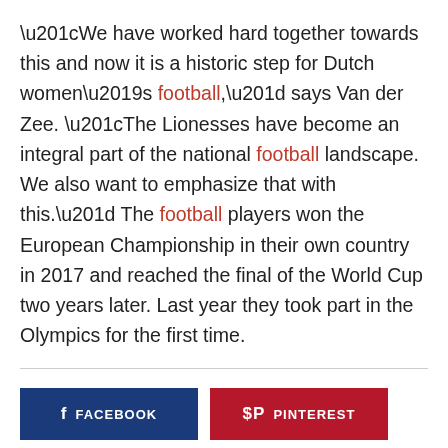“We have worked hard together towards this and now it is a historic step for Dutch women’s football,” says Van der Zee. “The Lionesses have become an integral part of the national football landscape. We also want to emphasize that with this.” The football players won the European Championship in their own country in 2017 and reached the final of the World Cup two years later. Last year they took part in the Olympics for the first time.
FACEBOOK | PINTEREST